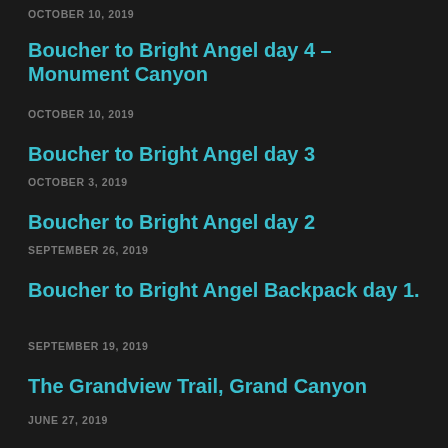OCTOBER 10, 2019
Boucher to Bright Angel day 4 – Monument Canyon
OCTOBER 10, 2019
Boucher to Bright Angel day 3
OCTOBER 3, 2019
Boucher to Bright Angel day 2
SEPTEMBER 26, 2019
Boucher to Bright Angel Backpack day 1.
SEPTEMBER 19, 2019
The Grandview Trail, Grand Canyon
JUNE 27, 2019